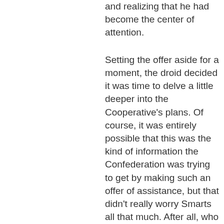and realizing that he had become the center of attention.
Setting the offer aside for a moment, the droid decided it was time to delve a little deeper into the Cooperative's plans. Of course, it was entirely possible that this was the kind of information the Confederation was trying to get by making such an offer of assistance, but that didn't really worry Smarts all that much. After all, who were they going to tell? The Coalition and Confederation shared the same enemies, held at their hearts the same basic values, and fought (though through different means)